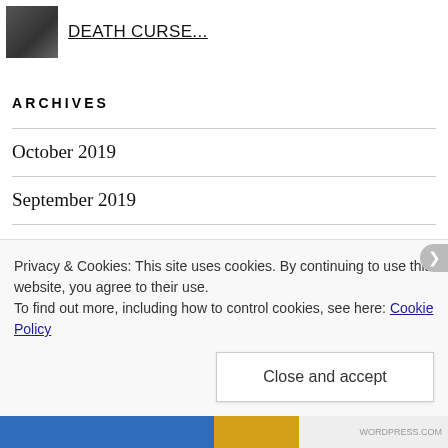DEATH CURSE...
ARCHIVES
October 2019
September 2019
August 2019
July 2019
Privacy & Cookies: This site uses cookies. By continuing to use this website, you agree to their use.
To find out more, including how to control cookies, see here: Cookie Policy
Close and accept